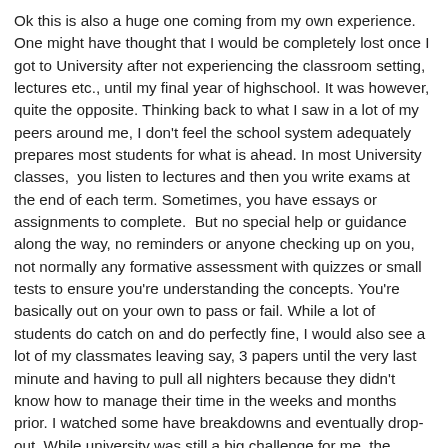Ok this is also a huge one coming from my own experience. One might have thought that I would be completely lost once I got to University after not experiencing the classroom setting, lectures etc., until my final year of highschool. It was however, quite the opposite. Thinking back to what I saw in a lot of my peers around me, I don't feel the school system adequately prepares most students for what is ahead. In most University classes,  you listen to lectures and then you write exams at the end of each term. Sometimes, you have essays or assignments to complete.  But no special help or guidance along the way, no reminders or anyone checking up on you, not normally any formative assessment with quizzes or small tests to ensure you're understanding the concepts. You're basically out on your own to pass or fail. While a lot of students do catch on and do perfectly fine, I would also see a lot of my classmates leaving say, 3 papers until the very last minute and having to pull all nighters because they didn't know how to manage their time in the weeks and months prior. I watched some have breakdowns and eventually drop-out. While university was still a big challenge for me, the format was nothing new. I had learned to manage my time properly from a very young age, having been given the same sort of flexibility and freedom with my studies. I had assignments to complete and deadlines to meet but for the most part, I could decide when I wanted to get it done.  I had learned to